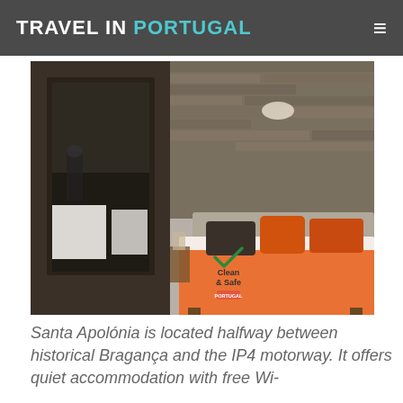TRAVEL IN PORTUGAL
[Figure (photo): Hotel room photo showing a double bed with orange bedspread and orange/dark pillows, stone wall headboard backdrop, bathroom visible through door on left, with a Clean & Safe Portugal badge overlaid on the bed]
Santa Apolónia is located halfway between historical Bragança and the IP4 motorway. It offers quiet accommodation with free Wi-